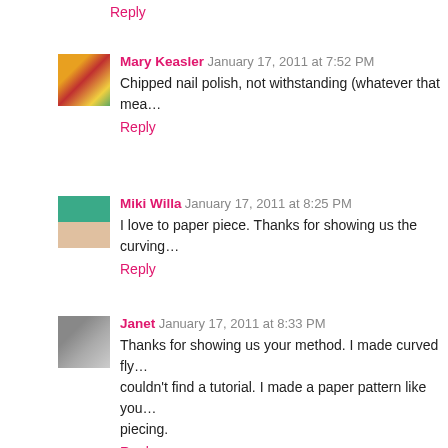Reply
Mary Keasler  January 17, 2011 at 7:52 PM
Chipped nail polish, not withstanding (whatever that mea…
Reply
Miki Willa  January 17, 2011 at 8:25 PM
I love to paper piece. Thanks for showing us the curving…
Reply
Janet  January 17, 2011 at 8:33 PM
Thanks for showing us your method. I made curved fly… couldn't find a tutorial. I made a paper pattern like you… piecing.
Reply